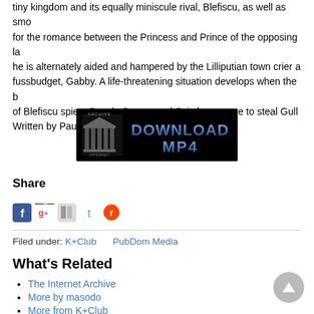tiny kingdom and its equally miniscule rival, Blefiscu, as well as smo… for the romance between the Princess and Prince of the opposing la… he is alternately aided and hampered by the Lilliputian town crier a… fussbudget, Gabby. A life-threatening situation develops when the b… of Blefiscu spies, Sneak, Snoop, and Snitch, manage to steal Gull… Written by Paul Penna
[Figure (screenshot): Internet Archive Download MP4 button banner — black background with stylized blue metallic 'DOWNLOAD MP4' text and Internet Archive column logo]
Share
[Figure (infographic): Social media share icons: Facebook, Google+, Bookmarks, Twitter, Reddit]
Filed under: K+Club   PubDom Media
What's Related
The Internet Archive
More by masodo
More from K+Club